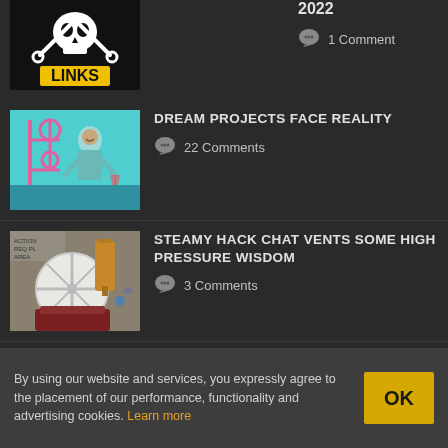2022
1 Comment
[Figure (illustration): Skull and crossbones with wrenches, 'LINKS' text in yellow on black background]
DREAM PROJECTS FACE REALITY
22 Comments
[Figure (illustration): Illustrated man with Rube Goldberg machine on teal background]
STEAMY HACK CHAT VENTS SOME HIGH PRESSURE WISDOM
3 Comments
[Figure (photo): Steam engine machinery photo]
[Figure (logo): Partial Hackaday logo text visible at bottom]
By using our website and services, you expressly agree to the placement of our performance, functionality and advertising cookies. Learn more
OK